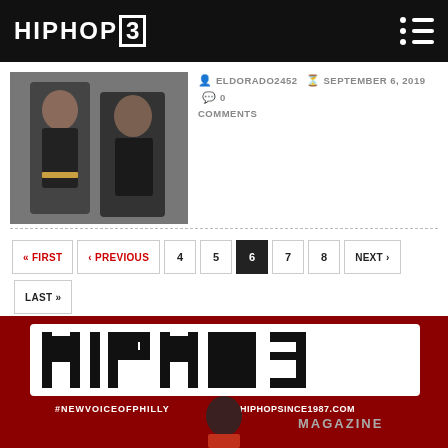HIPHOP3
[Figure (photo): Two men in dark clothing posing for a photo]
ELDORADO2452  SEPTEMBER 6, 2019  0 COMMENTS
« FIRST  « PREVIOUS  4  5  6  7  8  NEXT »  LAST »
[Figure (logo): HipHop3 magazine banner with #NEWVOICEOFPHILLY and HIPHOPSINCE1987.COM MAGAZINE text, red background, person in red jacket]